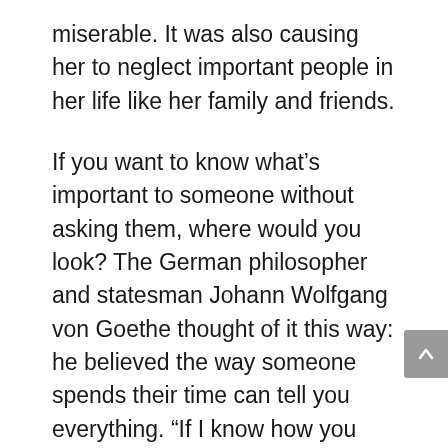miserable. It was also causing her to neglect important people in her life like her family and friends.
If you want to know what's important to someone without asking them, where would you look? The German philosopher and statesman Johann Wolfgang von Goethe thought of it this way: he believed the way someone spends their time can tell you everything. “If I know how you spend your time,” he writes, “then I know what might become of you.”